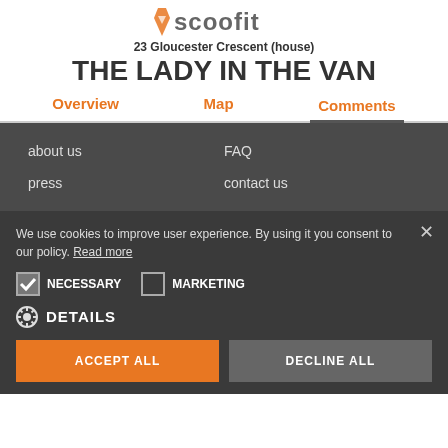[Figure (logo): Scoofit logo with orange location pin icon and grey text]
23 Gloucester Crescent (house)
THE LADY IN THE VAN
Overview | Map | Comments
about us
FAQ
press
contact us
We use cookies to improve user experience. By using it you consent to our policy. Read more
NECESSARY | MARKETING | DETAILS
ACCEPT ALL | DECLINE ALL